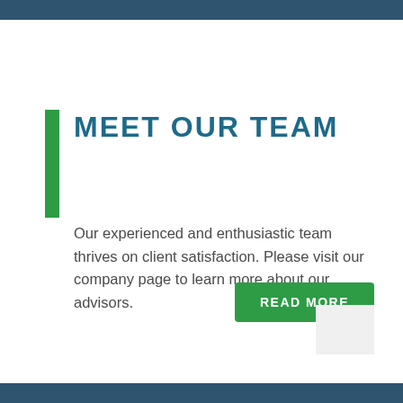MEET OUR TEAM
Our experienced and enthusiastic team thrives on client satisfaction. Please visit our company page to learn more about our advisors.
READ MORE